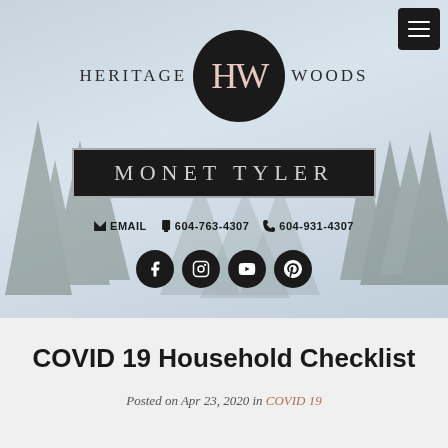[Figure (illustration): Heritage Woods real estate website header with forest background, HW logo circle, Monet Tyler name banner, contact info (email, phone numbers), and social media icons (Facebook, Instagram, YouTube, Pinterest)]
COVID 19 Household Checklist
Posted on Apr 23, 2020 in COVID 19